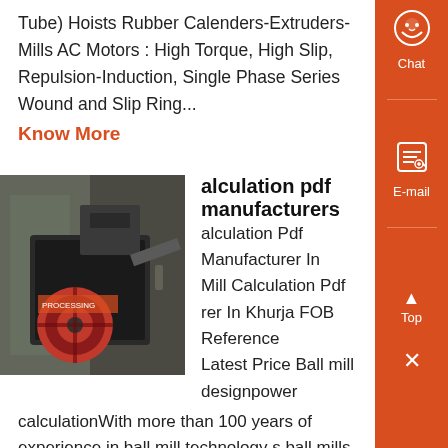Tube) Hoists Rubber Calenders-Extruders-Mills AC Motors : High Torque, High Slip, Repulsion-Induction, Single Phase Series Wound and Slip Ring...
Know More
[Figure (photo): Industrial ball mill or hammer crusher machine in a manufacturing facility, showing large rotating red disc and dark metal housing.]
alculation pdf manufacturers
alculation Pdf Manufacturer In Mill Calculation Pdf rer In Khurja FOB Reference Latest Price Ball mill designpower calculationWith more than 100 years of experience in ball mill technology s ball mills are designed for long life and minimum maintenanceThey grind ores and other materials typically to 35 mesh or finer